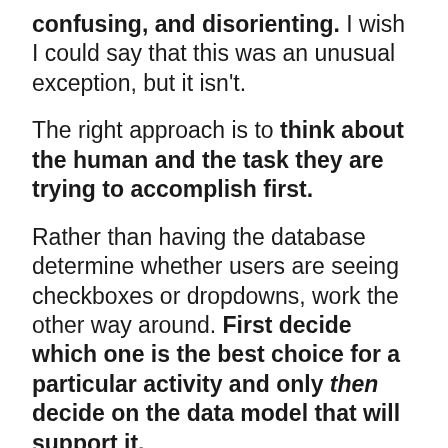confusing, and disorienting.  I wish I could say that this was an unusual exception, but it isn't.
The right approach is to think about the human and the task they are trying to accomplish first.
Rather than having the database determine whether users are seeing checkboxes or dropdowns, work the other way around.  First decide which one is the best choice for a particular activity and only then decide on the data model that will support it.